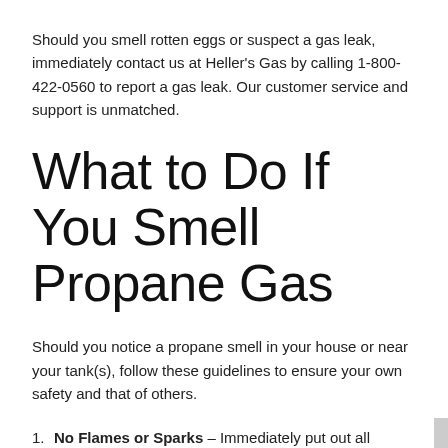Should you smell rotten eggs or suspect a gas leak, immediately contact us at Heller’s Gas by calling 1-800-422-0560 to report a gas leak. Our customer service and support is unmatched.
What to Do If You Smell Propane Gas
Should you notice a propane smell in your house or near your tank(s), follow these guidelines to ensure your own safety and that of others.
No Flames or Sparks – Immediately put out all smoking material and other open flames. Do not operate lights, telephones, or cell phones.